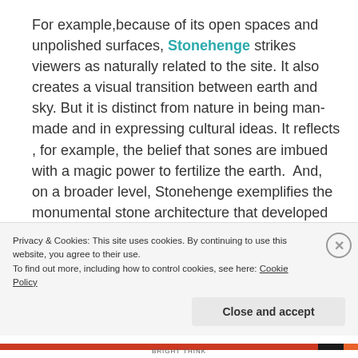For example,because of its open spaces and unpolished surfaces, Stonehenge strikes viewers as naturally related to the site. It also creates a visual transition between earth and sky. But it is distinct from nature in being man-made and in expressing cultural ideas. It reflects , for example, the belief that sones are imbued with a magic power to fertilize the earth. And, on a broader level, Stonehenge exemplifies the monumental stone architecture that developed when people made the transition from Paleolithic hunting societies to agriculture"
Privacy & Cookies: This site uses cookies. By continuing to use this website, you agree to their use.
To find out more, including how to control cookies, see here: Cookie Policy
Close and accept